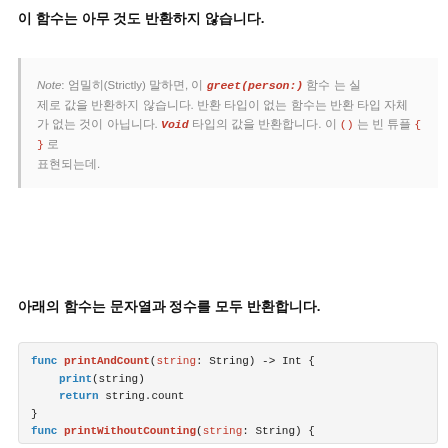이 함수는 아무 것도 반환하지 않습니다.
Note: 엄밀히(Strictly) 말하면, 이 greet(person:) 함수 는 실제로 값을 반환하지 않습니다. 반환 타입이 없는 함수는 Void 타입의 값을 반환합니다. 이 () 는 빈 튜플 로 표현되는데, 빈 {} 으로도 쓸 수 있습니다.
아래의 함수는 문자열과 정수를 모두 반환합니다.
[Figure (screenshot): Swift code block showing printAndCount and printWithoutCounting functions]